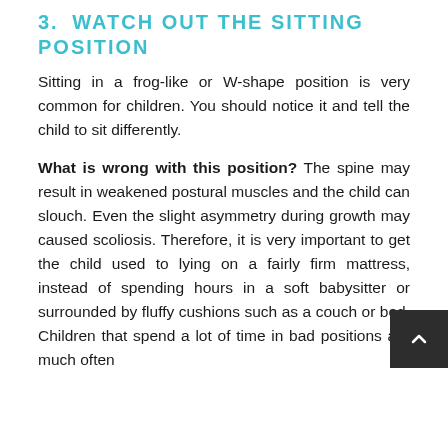3. WATCH OUT THE SITTING POSITION
Sitting in a frog-like or W-shape position is very common for children. You should notice it and tell the child to sit differently.
What is wrong with this position? The spine may result in weakened postural muscles and the child can slouch. Even the slight asymmetry during growth may caused scoliosis. Therefore, it is very important to get the child used to lying on a fairly firm mattress, instead of spending hours in a soft babysitter or surrounded by fluffy cushions such as a couch or bed. Children that spend a lot of time in bad positions are much often